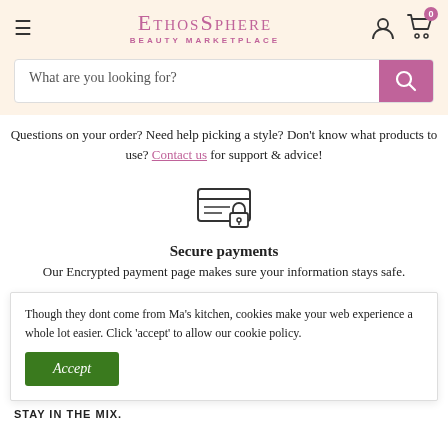EthosSphere Beauty Marketplace
What are you looking for?
Questions on your order? Need help picking a style? Don't know what products to use? Contact us for support & advice!
[Figure (illustration): Secure payment icon: credit card with padlock]
Secure payments
Our Encrypted payment page makes sure your information stays safe.
Though they dont come from Ma's kitchen, cookies make your web experience a whole lot easier. Click 'accept' to allow our cookie policy.
Accept
STAY IN THE MIX.